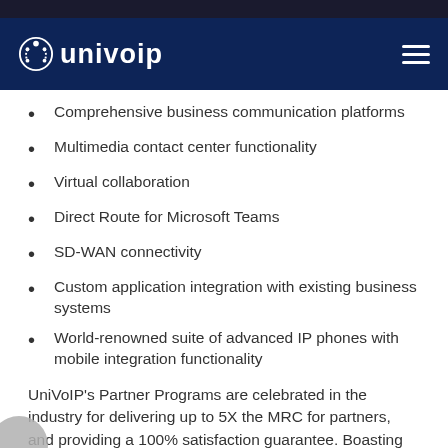UniVoIP
Comprehensive business communication platforms
Multimedia contact center functionality
Virtual collaboration
Direct Route for Microsoft Teams
SD-WAN connectivity
Custom application integration with existing business systems
World-renowned suite of advanced IP phones with mobile integration functionality
UniVoIP's Partner Programs are celebrated in the industry for delivering up to 5X the MRC for partners, and providing a 100% satisfaction guarantee. Boasting unlimited outcomes,